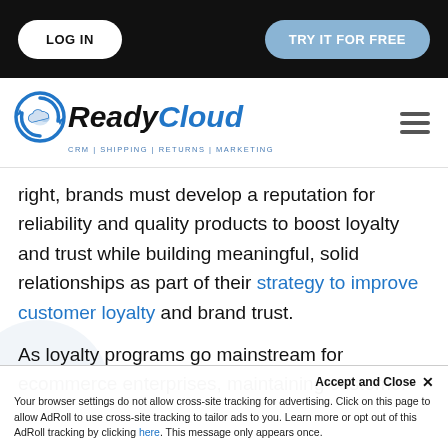LOG IN | TRY IT FOR FREE
[Figure (logo): ReadyCloud logo with circular arrow icon and tagline CRM | SHIPPING | RETURNS | MARKETING]
right, brands must develop a reputation for reliability and quality products to boost loyalty and trust while building meaningful, solid relationships as part of their strategy to improve customer loyalty and brand trust.
As loyalty programs go mainstream for ecommerce enterprises, maintaining customer
Your browser settings do not allow cross-site tracking for advertising. Click on this page to allow AdRoll to use cross-site tracking to tailor ads to you. Learn more or opt out of this AdRoll tracking by clicking here. This message only appears once.